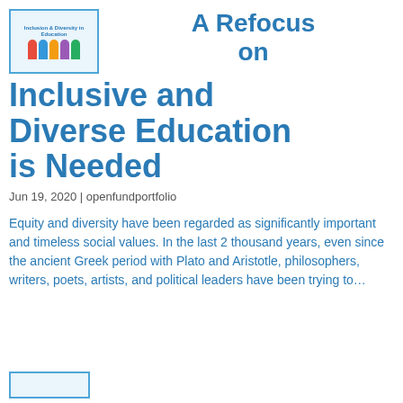[Figure (logo): Inclusion & Diversity in Education logo with cartoon children figures and clouds on light blue background]
A Refocus on Inclusive and Diverse Education is Needed
Jun 19, 2020 | openfundportfolio
Equity and diversity have been regarded as significantly important and timeless social values. In the last 2 thousand years, even since the ancient Greek period with Plato and Aristotle, philosophers, writers, poets, artists, and political leaders have been trying to…
[Figure (logo): Partial view of second logo at bottom of page]